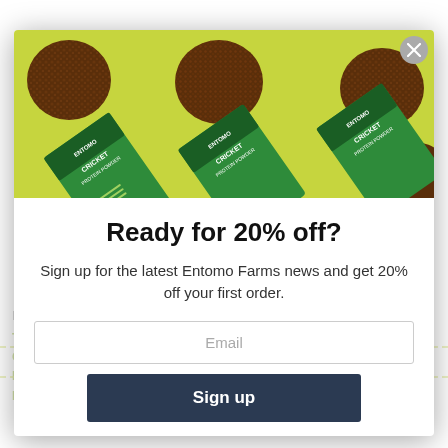[Figure (photo): Product photo showing Entomo Farms Organic Cricket Protein Powder green packages arranged diagonally on a yellow-green background with chocolate protein balls]
Ready for 20% off?
Sign up for the latest Entomo Farms news and get 20% off your first order.
Email
Sign up
Posted on November 4, 2015  by Wesley Francis
TAGS: APHID, CRICKET BUY CRICKET POWDER, CLEANABLE, CRICKET FLOUR, PROTEIN, CRICKET PROTEIN, EAT CLEAN, EAT INSECTS, EDIBLE BUGS, EDIBLE INSECTS, ENTOMOPHAGY, FOODIE, FUTURE OF FOOD, INSECT FLOUR